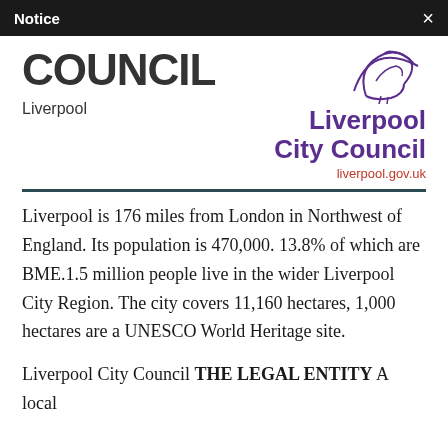Notice
COUNCIL
Liverpool
[Figure (logo): Liverpool City Council logo with stylized bird/liver bird icon in purple, text 'Liverpool City Council' in purple, and 'liverpool.gov.uk' in red]
Liverpool is 176 miles from London in Northwest of England. Its population is 470,000. 13.8% of which are BME.1.5 million people live in the wider Liverpool City Region. The city covers 11,160 hectares, 1,000 hectares are a UNESCO World Heritage site.
Liverpool City Council THE LEGAL ENTITY A local